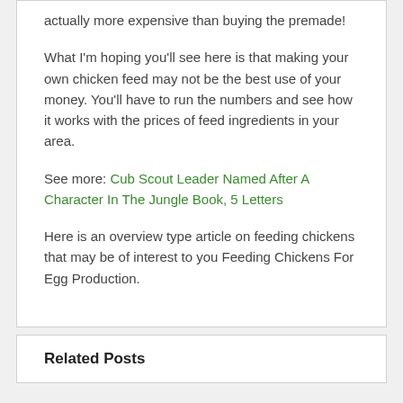actually more expensive than buying the premade!
What I'm hoping you'll see here is that making your own chicken feed may not be the best use of your money. You'll have to run the numbers and see how it works with the prices of feed ingredients in your area.
See more: Cub Scout Leader Named After A Character In The Jungle Book, 5 Letters
Here is an overview type article on feeding chickens that may be of interest to you Feeding Chickens For Egg Production.
Related Posts